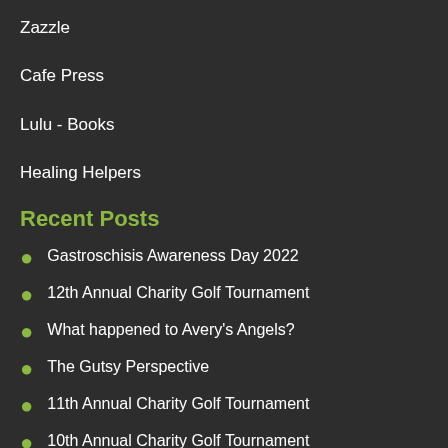Zazzle
Cafe Press
Lulu - Books
Healing Helpers
Recent Posts
Gastroschisis Awareness Day 2022
12th Annual Charity Golf Tournament
What happened to Avery's Angels?
The Gutsy Perspective
11th Annual Charity Golf Tournament
10th Annual Charity Golf Tournament
2020 Scholarship Recipient